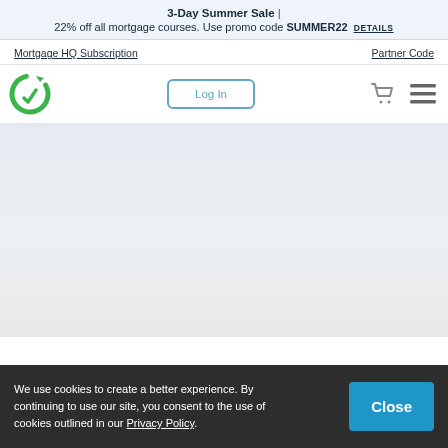3-Day Summer Sale | 22% off all mortgage courses. Use promo code SUMMER22 DETAILS
Mortgage HQ Subscription
Partner Code
[Figure (logo): Green circular arrow logo]
Log In
We use cookies to create a better experience. By continuing to use our site, you consent to the use of cookies outlined in our Privacy Policy.
Close